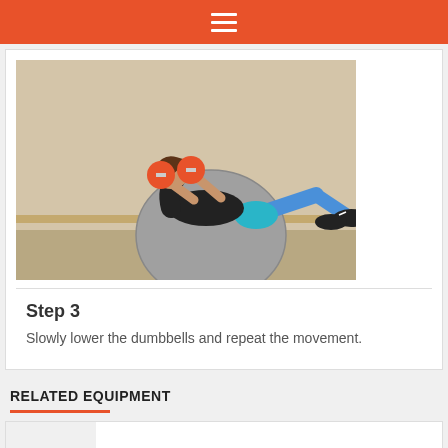☰
[Figure (photo): Woman performing dumbbell chest press on a stability/workout ball, holding orange dumbbells]
Step 3
Slowly lower the dumbbells and repeat the movement.
RELATED EQUIPMENT
[Figure (photo): Workout Ball (without pump) - silver/grey exercise ball shown partially]
Workout Ball (without pump)